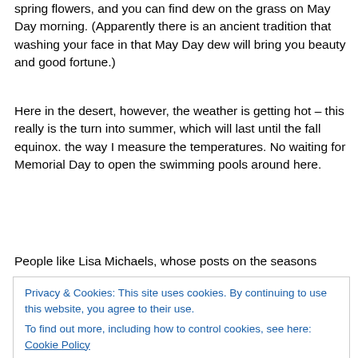spring flowers, and you can find dew on the grass on May Day morning. (Apparently there is an ancient tradition that washing your face in that May Day dew will bring you beauty and good fortune.)
Here in the desert, however, the weather is getting hot – this really is the turn into summer, which will last until the fall equinox. the way I measure the temperatures. No waiting for Memorial Day to open the swimming pools around here.
People like Lisa Michaels, whose posts on the seasons
Privacy & Cookies: This site uses cookies. By continuing to use this website, you agree to their use.
To find out more, including how to control cookies, see here: Cookie Policy